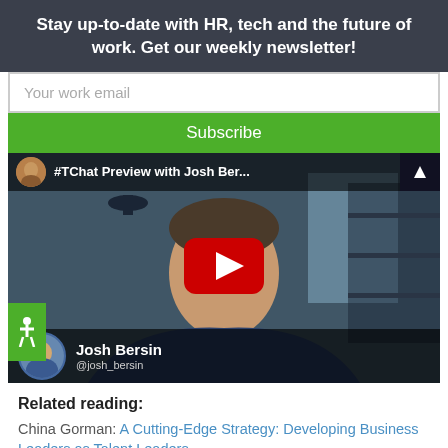Stay up-to-date with HR, tech and the future of work. Get our weekly newsletter!
Your work email
Subscribe
[Figure (screenshot): YouTube video thumbnail showing #TChat Preview with Josh Bersin, featuring a person wearing glasses and a blue blazer, with the YouTube play button in the center. Bottom bar shows Josh Bersin @josh_bersin.]
Related reading:
China Gorman: A Cutting-Edge Strategy: Developing Business Leaders as Talent Leaders
Aberdeen Group: HCM Trends 2014: Developing a